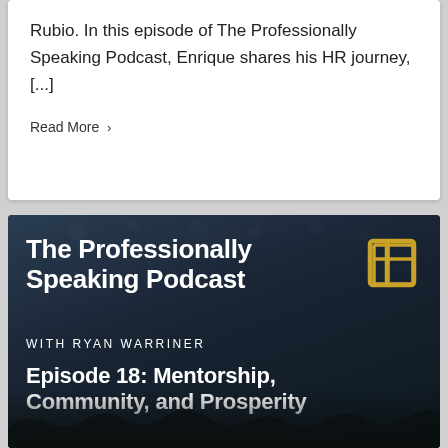Rubio. In this episode of The Professionally Speaking Podcast, Enrique shares his HR journey, [...]
Read More >
[Figure (screenshot): Podcast cover image for The Professionally Speaking Podcast with Ryan Warriner, Episode 18: Mentorship, Community, and Prosperity. Dark background with blurred crowd and a gold/white geometric logo in top right.]
The Professionally Speaking Podcast
WITH RYAN WARRINER
Episode 18: Mentorship, Community, and Prosperity